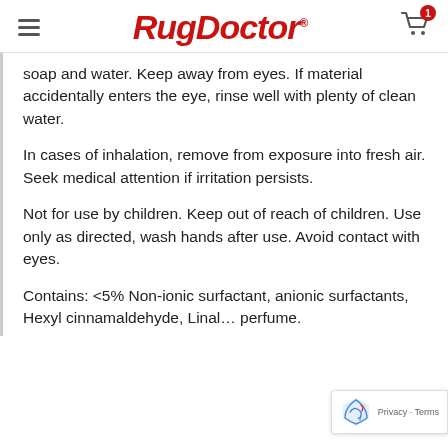Rug Doctor
soap and water. Keep away from eyes. If material accidentally enters the eye, rinse well with plenty of clean water.
In cases of inhalation, remove from exposure into fresh air. Seek medical attention if irritation persists.
Not for use by children. Keep out of reach of children. Use only as directed, wash hands after use. Avoid contact with eyes.
Contains: <5% Non-ionic surfactant, anionic surfactants, Hexyl cinnamaldehyde, Linalool, perfume.